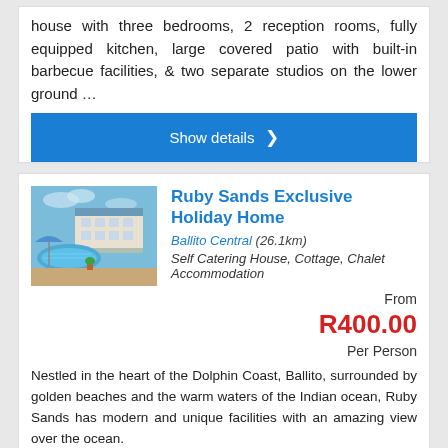house with three bedrooms, 2 reception rooms, fully equipped kitchen, large covered patio with built-in barbecue facilities, & two separate studios on the lower ground …
Show details ❯
Ruby Sands Exclusive Holiday Home
Ballito Central (26.1km)
Self Catering House, Cottage, Chalet Accommodation
From R400.00 Per Person
Nestled in the heart of the Dolphin Coast, Ballito, surrounded by golden beaches and the warm waters of the Indian ocean, Ruby Sands has modern and unique facilities with an amazing view over the ocean.
Show details ❯